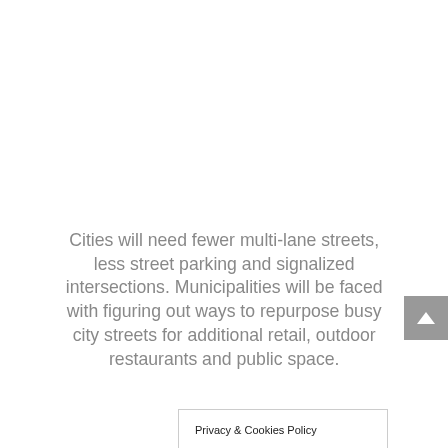Cities will need fewer multi-lane streets, less street parking and signalized intersections. Municipalities will be faced with figuring out ways to repurpose busy city streets for additional retail, outdoor restaurants and public space.
Privacy & Cookies Policy